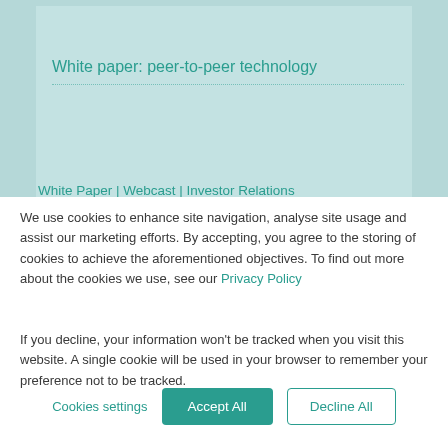White paper: peer-to-peer technology
White Paper | Webcast | Investor Relations
We use cookies to enhance site navigation, analyse site usage and assist our marketing efforts. By accepting, you agree to the storing of cookies to achieve the aforementioned objectives. To find out more about the cookies we use, see our Privacy Policy
If you decline, your information won’t be tracked when you visit this website. A single cookie will be used in your browser to remember your preference not to be tracked.
Cookies settings
Accept All
Decline All